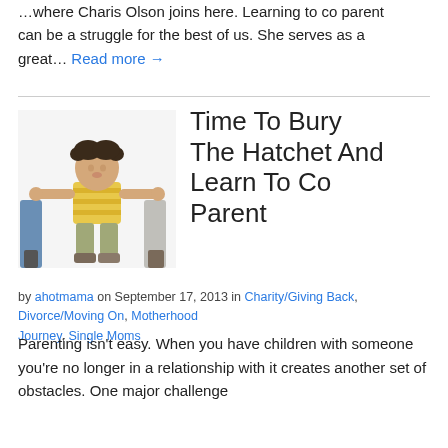...where Charis Olson joins here.  Learning to co parent can be a struggle for the best of us.  She serves as a great... Read more →
[Figure (photo): A young child with pigtails wearing a striped yellow shirt and khaki pants, arms outstretched, being held by two adults on either side (only legs visible).]
Time To Bury The Hatchet And Learn To Co Parent
by ahotmama on September 17, 2013 in Charity/Giving Back, Divorce/Moving On, Motherhood Journey, Single Moms
Parenting isn't easy.  When you have children with someone you're no longer in a relationship with it creates another set of obstacles.  One major challenge